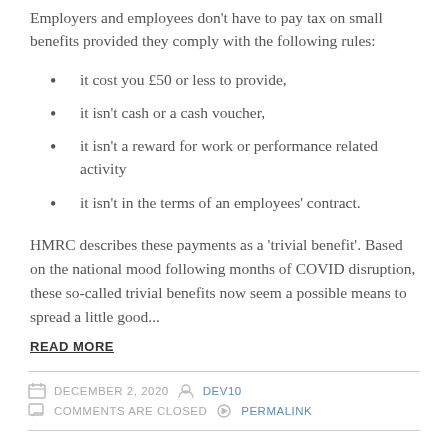Employers and employees don't have to pay tax on small benefits provided they comply with the following rules:
it cost you £50 or less to provide,
it isn't cash or a cash voucher,
it isn't a reward for work or performance related activity
it isn't in the terms of an employees' contract.
HMRC describes these payments as a 'trivial benefit'. Based on the national mood following months of COVID disruption, these so-called trivial benefits now seem a possible means to spread a little good...
READ MORE
DECEMBER 2, 2020  DEV10  COMMENTS ARE CLOSED  PERMALINK
MORE ON EXTENDED FURLOUGH SCHEME